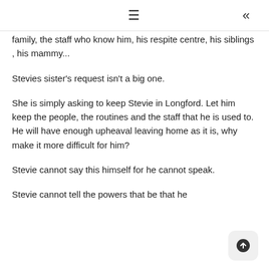≡ «
family, the staff who know him, his respite centre, his siblings , his mammy...
Stevies sister's request isn't a big one.
She is simply asking to keep Stevie in Longford. Let him keep the people, the routines and the staff that he is used to. He will have enough upheaval leaving home as it is, why make it more difficult for him?
Stevie cannot say this himself for he cannot speak.
Stevie cannot tell the powers that be that he